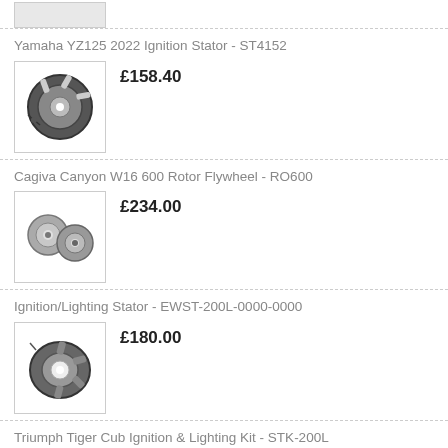[Figure (photo): Partial product image at top of page, cut off]
Yamaha YZ125 2022 Ignition Stator - ST4152
[Figure (photo): Ignition stator product photo - circular black stator component]
£158.40
Cagiva Canyon W16 600 Rotor Flywheel - RO600
[Figure (photo): Rotor flywheel product photo - two silver flywheel components]
£234.00
Ignition/Lighting Stator - EWST-200L-0000-0000
[Figure (photo): Ignition/lighting stator product photo - circular stator component]
£180.00
Triumph Tiger Cub Ignition & Lighting Kit - STK-200L
[Figure (photo): Ignition & lighting kit product photo - various small components]
£282.00